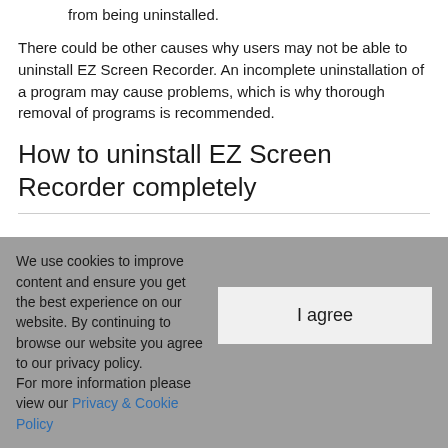from being uninstalled.
There could be other causes why users may not be able to uninstall EZ Screen Recorder. An incomplete uninstallation of a program may cause problems, which is why thorough removal of programs is recommended.
How to uninstall EZ Screen Recorder completely
We use cookies to improve content and ensure you get the best experience on our website. By continuing to browse our website you agree to our privacy policy. For more information please view our Privacy & Cookie Policy